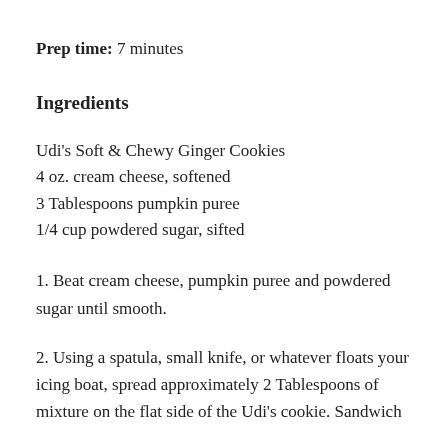Prep time: 7 minutes
Ingredients
Udi's Soft & Chewy Ginger Cookies
4 oz. cream cheese, softened
3 Tablespoons pumpkin puree
1/4 cup powdered sugar, sifted
1. Beat cream cheese, pumpkin puree and powdered sugar until smooth.
2. Using a spatula, small knife, or whatever floats your icing boat, spread approximately 2 Tablespoons of mixture on the flat side of the Udi's cookie. Sandwich